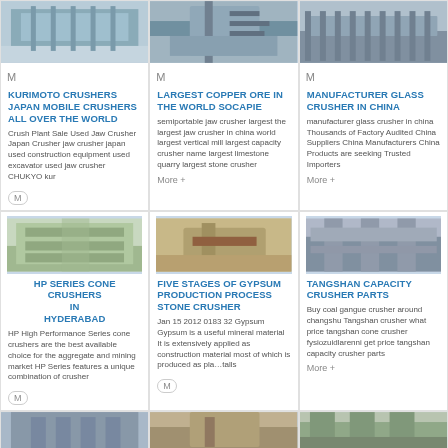[Figure (photo): Industrial building/factory exterior photo - top portion]
[Figure (photo): Mining/crusher machinery photo - top portion]
[Figure (photo): Conveyor belt/industrial equipment photo - top portion]
KURIMOTO CRUSHERS JAPAN MOBILE CRUSHERS ALL OVER THE WORLD
LARGEST COPPER ORE IN THE WORLD SOCAPIE
MANUFACTURER GLASS CRUSHER IN CHINA
Crush Plant Sale Used Jaw Crusher Japan Crusher jaw crusher japan used construction equipment used excavator used jaw crusher CHUKYO kur
semiportable jaw crusher largest the largest jaw crusher in china world largest vertical mill largest capacity crusher name largest limestone quarry largest stone crusher
manufacturer glass crusher in china Thousands of Factory Audited China Suppliers China Manufacturers China Products are seeking Trusted Importers
M
More +
More +
[Figure (photo): Aerial view of factory/industrial site]
[Figure (photo): Crusher/mining equipment in desert setting]
[Figure (photo): Large industrial structure with towers]
HP SERIES CONE CRUSHERS IN HYDERABAD
FIVE STAGES OF GYPSUM PRODUCTION PROCESS STONE CRUSHER
TANGSHAN CAPACITY CRUSHER PARTS
HP High Performance Series cone crushers are the best available choice for the aggregate and mining market HP Series features a unique combination of crusher
Jan 15 2012 0183 32 Gypsum Gypsum is a useful mineral material It is extensively applied as construction material most of which is produced as pla
Buy coal gangue crusher around changshu Tangshan crusher what price tangshan cone crusher fysiozuidlarenni get price tangshan capacity crusher parts
M
More +
M